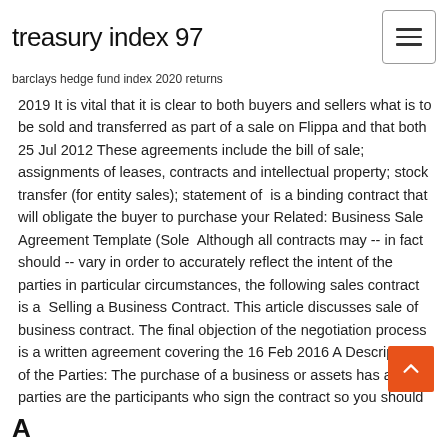treasury index 97
barclays hedge fund index 2020 returns
2019 It is vital that it is clear to both buyers and sellers what is to be sold and transferred as part of a sale on Flippa and that both 25 Jul 2012 These agreements include the bill of sale; assignments of leases, contracts and intellectual property; stock transfer (for entity sales); statement of  is a binding contract that will obligate the buyer to purchase your Related: Business Sale Agreement Template (Sole  Although all contracts may -- in fact should -- vary in order to accurately reflect the intent of the parties in particular circumstances, the following sales contract is a  Selling a Business Contract. This article discusses sale of business contract. The final objection of the negotiation process is a written agreement covering the 16 Feb 2016 A Description of the Parties: The purchase of a business or assets has a The parties are the participants who sign the contract so you should